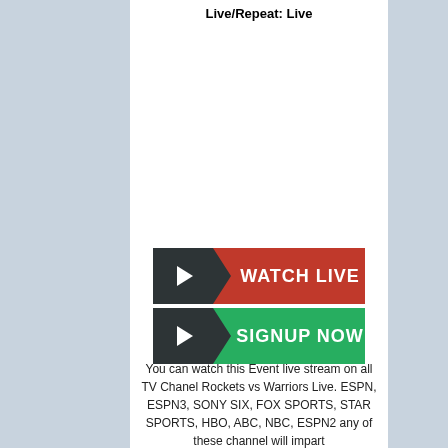Live/Repeat: Live
[Figure (other): Two call-to-action buttons: 'WATCH LIVE' (red with dark play icon section) and 'SIGNUP NOW' (green with dark play icon section)]
You can watch this Event live stream on all TV Chanel Rockets vs Warriors Live. ESPN, ESPN3, SONY SIX, FOX SPORTS, STAR SPORTS, HBO, ABC, NBC, ESPN2 any of these channel will impart